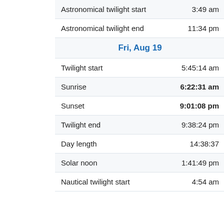| Event | Time |
| --- | --- |
| Astronomical twilight start | 3:49 am |
| Astronomical twilight end | 11:34 pm |
| Fri, Aug 19 |  |
| Twilight start | 5:45:14 am |
| Sunrise | 6:22:31 am |
| Sunset | 9:01:08 pm |
| Twilight end | 9:38:24 pm |
| Day length | 14:38:37 |
| Solar noon | 1:41:49 pm |
| Nautical twilight start | 4:54 am |